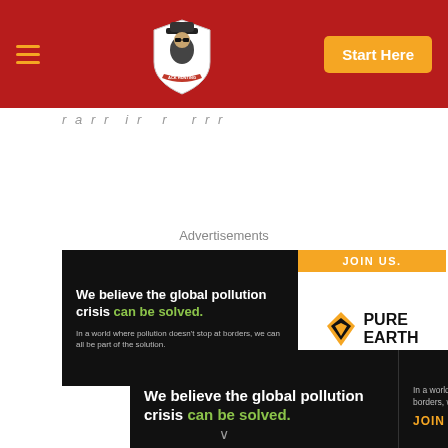Navigation header with hamburger menu, logo, and Start Here button
Page title breadcrumb area
Advertisements
[Figure (screenshot): Pure Earth advertisement banner (top): Black background left panel with text 'We believe the global pollution crisis can be solved. In a world where pollution doesn't stop at borders, we can all be part of the solution.' Right panel with orange JOIN US bar and Pure Earth logo.]
[Figure (screenshot): Pure Earth advertisement banner (bottom, wider): Black background with 'We believe the global pollution crisis can be solved.' headline, subtext, JOIN US in orange, and Pure Earth logo on white right panel.]